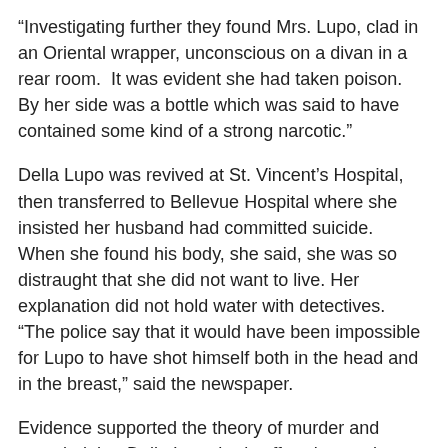“Investigating further they found Mrs. Lupo, clad in an Oriental wrapper, unconscious on a divan in a rear room. It was evident she had taken poison. By her side was a bottle which was said to have contained some kind of a strong narcotic.”
Della Lupo was revived at St. Vincent’s Hospital, then transferred to Bellevue Hospital where she insisted her husband had committed suicide. When she found his body, she said, she was so distraught that she did not want to live. Her explanation did not hold water with detectives. “The police say that it would have been impossible for Lupo to have shot himself both in the head and in the breast,” said the newspaper.
Evidence supported the theory of murder and revealed that Della Lupo had suffered mental agony after slaying her husband. Morris’ head rested on a pillow on the floor and “the condition of the room in which the shooting occurred showed the night of horror the woman had gone through.
“She had tumbled the bed and disarranged the furniture in